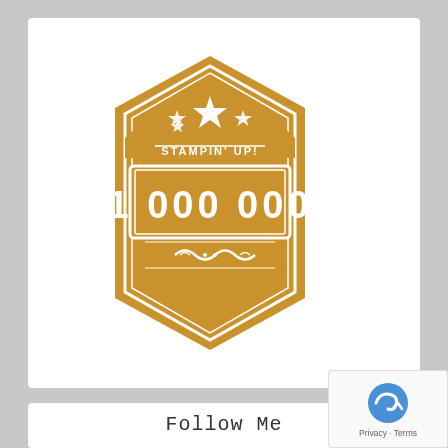[Figure (logo): Stampin' Up! gold hexagonal badge/emblem with stars and '1 000 000' text in a rectangular banner in the center]
Follow Me